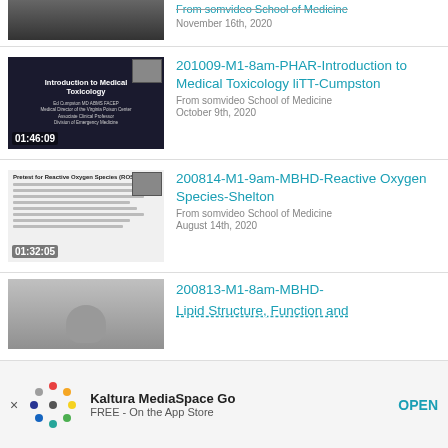[Figure (screenshot): Partial video thumbnail at top, cropped]
From somvideo School of Medicine
November 16th, 2020
[Figure (screenshot): Video thumbnail showing Introduction to Medical Toxicology slide, duration 01:46:09]
201009-M1-8am-PHAR-Introduction to Medical Toxicology liTT-Cumpston
From somvideo School of Medicine
October 9th, 2020
[Figure (screenshot): Video thumbnail showing Pretest for Reactive Oxygen Species (ROS) slide, duration 01:32:05]
200814-M1-9am-MBHD-Reactive Oxygen Species-Shelton
From somvideo School of Medicine
August 14th, 2020
[Figure (screenshot): Partial video thumbnail showing a person, cropped at bottom]
200813-M1-8am-MBHD-
Lipid Structure, Function and
Kaltura MediaSpace Go
FREE - On the App Store
OPEN